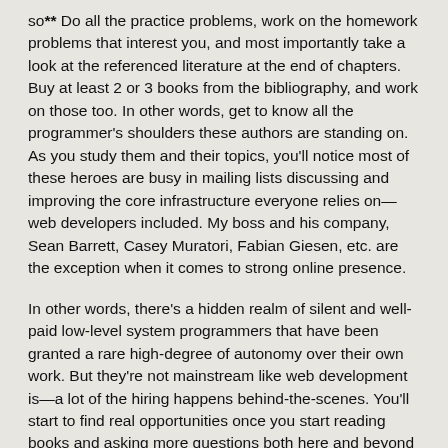so** Do all the practice problems, work on the homework problems that interest you, and most importantly take a look at the referenced literature at the end of chapters. Buy at least 2 or 3 books from the bibliography, and work on those too. In other words, get to know all the programmer's shoulders these authors are standing on. As you study them and their topics, you'll notice most of these heroes are busy in mailing lists discussing and improving the core infrastructure everyone relies on—web developers included. My boss and his company, Sean Barrett, Casey Muratori, Fabian Giesen, etc. are the exception when it comes to strong online presence.
In other words, there's a hidden realm of silent and well-paid low-level system programmers that have been granted a rare high-degree of autonomy over their own work. But they're not mainstream like web development is—a lot of the hiring happens behind-the-scenes. You'll start to find real opportunities once you start reading books and asking more questions both here and beyond (I'm glad you're no longer a lurker!)
At some point, deep into your studies, you'll start to understand